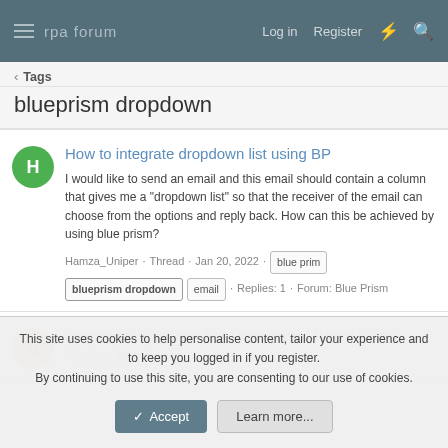rpa forum  Log in  Register
< Tags
blueprism dropdown
How to integrate dropdown list using BP
I would like to send an email and this email should contain a column that gives me a "dropdown list" so that the receiver of the email can choose from the options and reply back. How can this be achieved by using blue prism?
Hamza_Uniper · Thread · Jan 20, 2022 · blue prim blueprism dropdown email · Replies: 1 · Forum: Blue Prism
Dropdown Selection Not Recognized When Using "Select Item"
This site uses cookies to help personalise content, tailor your experience and to keep you logged in if you register.
By continuing to use this site, you are consenting to our use of cookies.